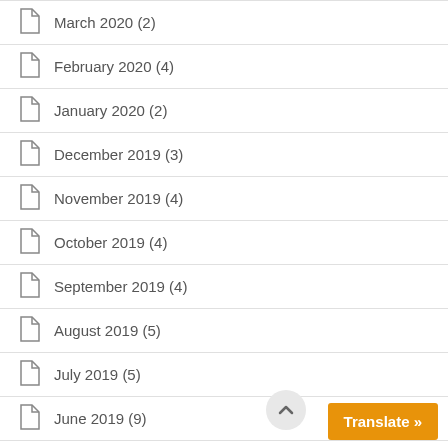March 2020 (2)
February 2020 (4)
January 2020 (2)
December 2019 (3)
November 2019 (4)
October 2019 (4)
September 2019 (4)
August 2019 (5)
July 2019 (5)
June 2019 (9)
May 2019 (3)
February 2019 (4)